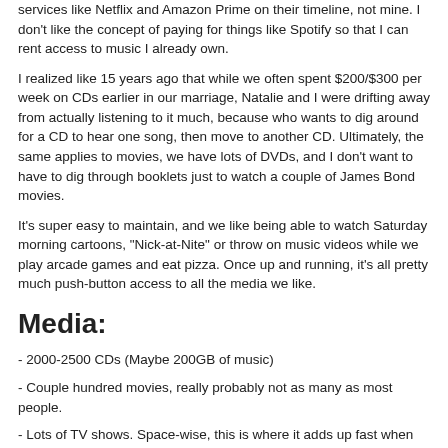services like Netflix and Amazon Prime on their timeline, not mine. I don't like the concept of paying for things like Spotify so that I can rent access to music I already own.
I realized like 15 years ago that while we often spent $200/$300 per week on CDs earlier in our marriage, Natalie and I were drifting away from actually listening to it much, because who wants to dig around for a CD to hear one song, then move to another CD. Ultimately, the same applies to movies, we have lots of DVDs, and I don't want to have to dig through booklets just to watch a couple of James Bond movies.
It's super easy to maintain, and we like being able to watch Saturday morning cartoons, "Nick-at-Nite" or throw on music videos while we play arcade games and eat pizza. Once up and running, it's all pretty much push-button access to all the media we like.
Media:
- 2000-2500 CDs (Maybe 200GB of music)
- Couple hundred movies, really probably not as many as most people.
- Lots of TV shows. Space-wise, this is where it adds up fast when you're ripping a box-set of 10 seasons of some show.
- Commercials, mainly from the '80s and '90s, but I'll grab anything fun that strikes us.
- Music videos. We have a small collection of around 3000 or so...